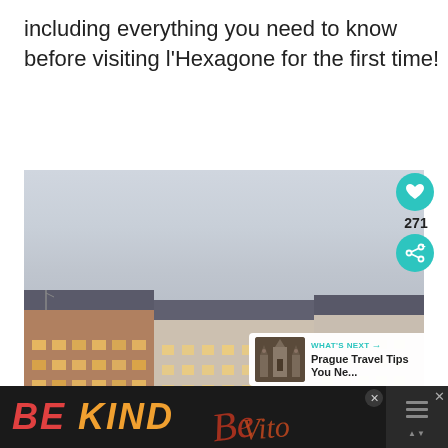including everything you need to know before visiting l'Hexagone for the first time!
[Figure (photo): Photograph of Parisian buildings at dusk with cloudy sky. On the right side there is a teal heart button with count 271, a share button, and a 'WHAT'S NEXT' panel showing 'Prague Travel Tips You Ne...']
[Figure (screenshot): Advertisement banner at the bottom: 'BE KIND' text in red and orange on dark background with decorative script, close button, and a dark panel on the right with an X close icon]